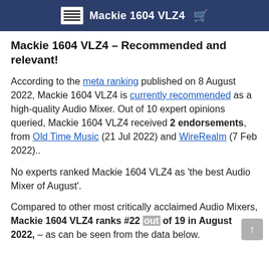Mackie 1604 VLZ4
Mackie 1604 VLZ4 – Recommended and relevant!
According to the meta ranking published on 8 August 2022, Mackie 1604 VLZ4 is currently recommended as a high-quality Audio Mixer. Out of 10 expert opinions queried, Mackie 1604 VLZ4 received 2 endorsements, from Old Time Music (21 Jul 2022) and WireRealm (7 Feb 2022)..
No experts ranked Mackie 1604 VLZ4 as 'the best Audio Mixer of August'.
Compared to other most critically acclaimed Audio Mixers, Mackie 1604 VLZ4 ranks #22 out of 19 in August 2022, – as can be seen from the data below.